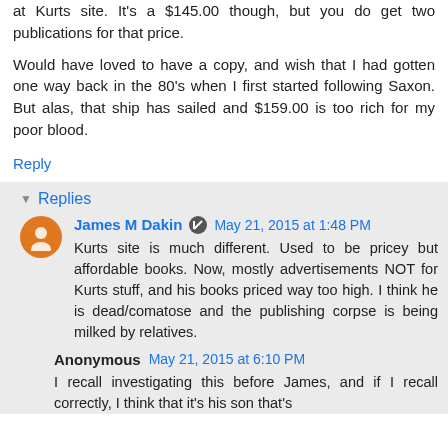at Kurts site. It's a $145.00 though, but you do get two publications for that price.
Would have loved to have a copy, and wish that I had gotten one way back in the 80's when I first started following Saxon. But alas, that ship has sailed and $159.00 is too rich for my poor blood.
Reply
Replies
James M Dakin  May 21, 2015 at 1:48 PM
Kurts site is much different. Used to be pricey but affordable books. Now, mostly advertisements NOT for Kurts stuff, and his books priced way too high. I think he is dead/comatose and the publishing corpse is being milked by relatives.
Anonymous  May 21, 2015 at 6:10 PM
I recall investigating this before James, and if I recall correctly, I think that it's his son that's